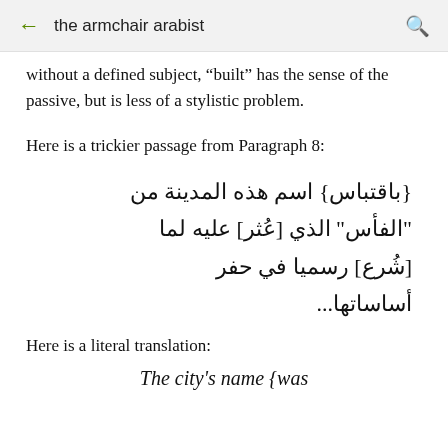the armchair arabist
without a defined subject, "built" has the sense of the passive, but is less of a stylistic problem.
Here is a trickier passage from Paragraph 8:
{باقتباس} اسم هذه المدينة من "الفأس" الذي [عُثر] عليه لما [شُرع] رسميا في حفر أساساتها...
Here is a literal translation:
The city's name {was